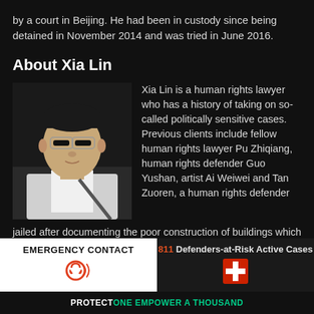by a court in Beijing. He had been in custody since being detained in November 2014 and was tried in June 2016.
About Xia Lin
[Figure (photo): Headshot photo of Xia Lin, a man wearing glasses and a white shirt with a bag strap visible]
Xia Lin is a human rights lawyer who has a history of taking on so-called politically sensitive cases. Previous clients include fellow human rights lawyer Pu Zhiqiang, human rights defender Guo Yushan, artist Ai Weiwei and Tan Zuoren, a human rights defender jailed after documenting the poor construction of buildings which contributed to the death toll in China's 2008 earthquake in Sichuan province. According to Xia
EMERGENCY CONTACT | 811 Defenders-at-Risk Active Cases | PROTECT ONE EMPOWER A THOUSAND